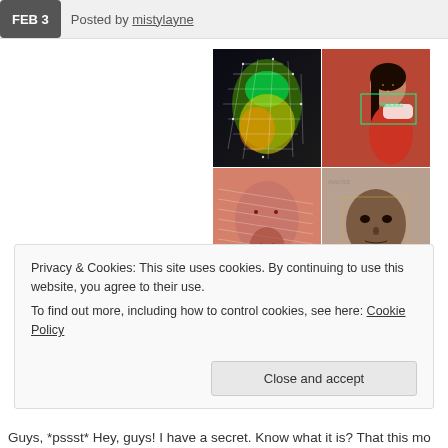FEB 3  Posted by mistylayne
[Figure (photo): A collage of four images related to facial recognition and AI technology: top-left shows a colorful 3D wireframe/point cloud of a human figure, top-right shows a woman in a red dress from the side with facial recognition overlay and 'READING' label, bottom-left shows a face with data visualization overlay, bottom-right shows a man with recognition data overlay.]
Privacy & Cookies: This site uses cookies. By continuing to use this website, you agree to their use.
To find out more, including how to control cookies, see here: Cookie Policy
Close and accept
Guys, *pssst* Hey, guys! I have a secret. Know what it is? That this mo